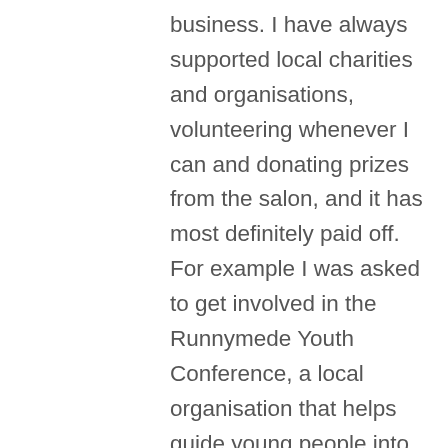business. I have always supported local charities and organisations, volunteering whenever I can and donating prizes from the salon, and it has most definitely paid off. For example I was asked to get involved in the Runnymede Youth Conference, a local organisation that helps guide young people into their future careers and make the right decisions in life. As a result, last year I presented a talk with PR guru Max Clifford who is also involved in it, and we've built a great relationship. I also sponsor a local charity and football team, the Oxshott Royals. The club is run solely on volunteers and relies on sponsors to keep it afloat. It's been great publicity for my business and I am happy to be part of the community here in Oxshott. We also have a very close bond with the Shooting Star Chase hospice for children where we are in regular contact and supporting the kids the best